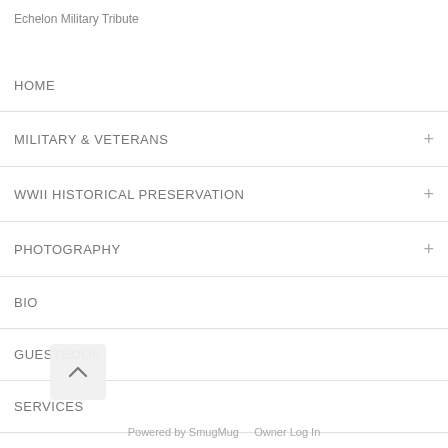Echelon Military Tribute
HOME
MILITARY & VETERANS
WWII HISTORICAL PRESERVATION
PHOTOGRAPHY
BIO
GUESTBOOK
SERVICES
Powered by SmugMug    Owner Log In